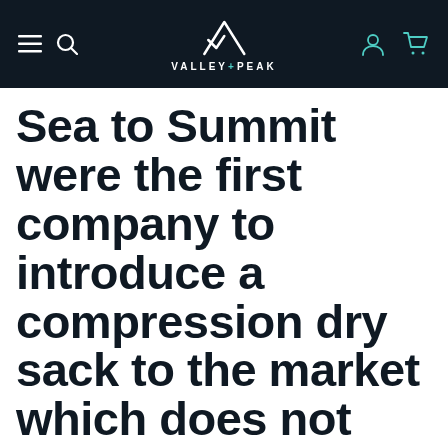VALLEY+PEAK
Sea to Summit were the first company to introduce a compression dry sack to the market which does not use a purge valve.
This innovation uses air permeable eVent® fabric on